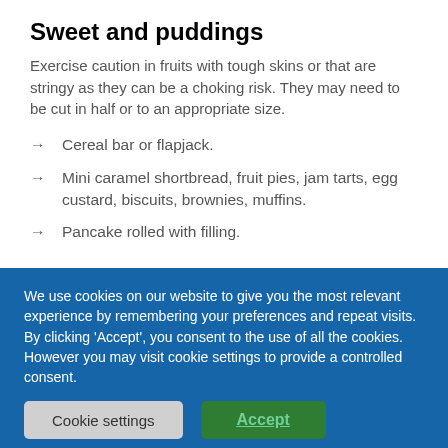Sweet and puddings
Exercise caution in fruits with tough skins or that are stringy as they can be a choking risk. They may need to be cut in half or to an appropriate size.
Cereal bar or flapjack.
Mini caramel shortbread, fruit pies, jam tarts, egg custard, biscuits, brownies, muffins.
Pancake rolled with filling.
We use cookies on our website to give you the most relevant experience by remembering your preferences and repeat visits. By clicking 'Accept', you consent to the use of all the cookies. However you may visit cookie settings to provide a controlled consent.